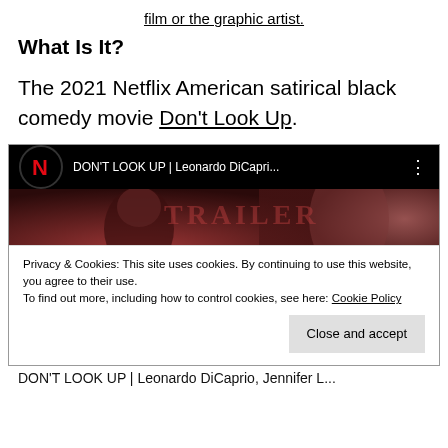film or the graphic artist.
What Is It?
The 2021 Netflix American satirical black comedy movie Don't Look Up.
[Figure (screenshot): Screenshot of a YouTube video embed showing 'DON'T LOOK UP | Leonardo DiCapri...' with Netflix logo, movie still of actors, and a cookie consent banner overlay with 'Close and accept' button.]
DON'T LOOK UP | Leonardo DiCaprio, Jennifer L...